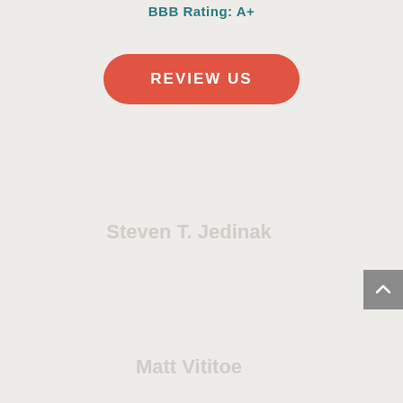BBB Rating: A+
[Figure (other): Red pill-shaped button with white bold text reading REVIEW US]
Steven T. Jedinak
Matt Vititoe
[Figure (other): Gray scroll-to-top button with upward chevron arrow on right edge of page]